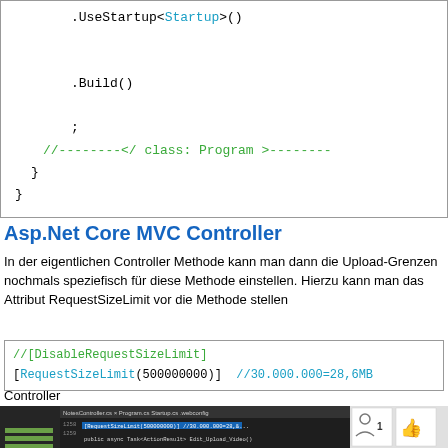[Figure (screenshot): Code snippet showing .UseStartup<Startup>() .Build() ; //--------</ class: Program >--------  } }]
Asp.Net Core MVC Controller
In der eigentlichen Controller Methode kann man dann die Upload-Grenzen nochmals speziefisch für diese Methode einstellen. Hierzu kann man das Attribut RequestSizeLimit vor die Methode stellen
[Figure (screenshot): Code block showing //[DisableRequestSizeLimit] and [RequestSizeLimit(500000000)] //30.000.000=28,6MB]
Controller
[Figure (screenshot): Screenshot of Visual Studio IDE showing NotesController.cs with highlighted RequestSizeLimit(500000000) line, with social share icons on the right]